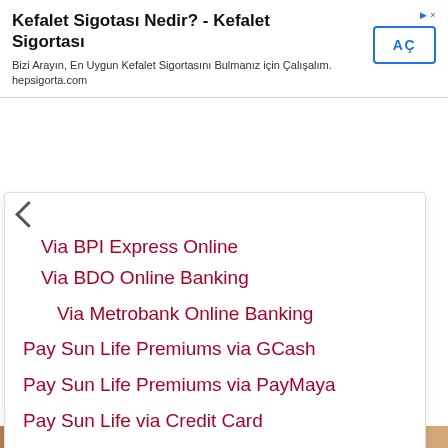[Figure (screenshot): Advertisement banner for Kefalet Sigortası (Kefalet Insurance) from hepsigorta.com with a blue 'AÇ' button]
Via BPI Express Online
Via BDO Online Banking
Via Metrobank Online Banking
Pay Sun Life Premiums via GCash
Pay Sun Life Premiums via PayMaya
Pay Sun Life via Credit Card
Auto-Debit Arrangement (ADA) Facility
Other Payment Facilities
Pay Premium in Sun Life via Over-the-Counter (OTC)